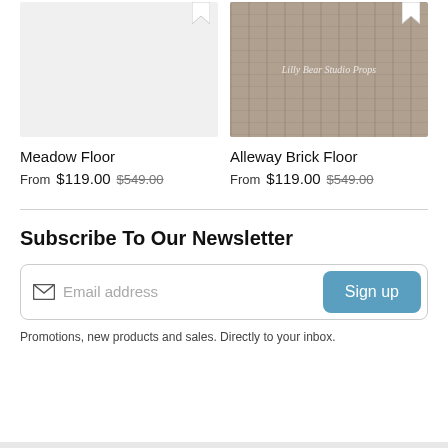[Figure (photo): Product image placeholder — light gray background for Meadow Floor product]
[Figure (photo): Product image — dark taupe brick texture background with 'Lilly Bear Studio Props' watermark text for Alleway Brick Floor product]
Meadow Floor
From $119.00 $549.00
Alleway Brick Floor
From $119.00 $549.00
Subscribe To Our Newsletter
Email address
Sign up
Promotions, new products and sales. Directly to your inbox.